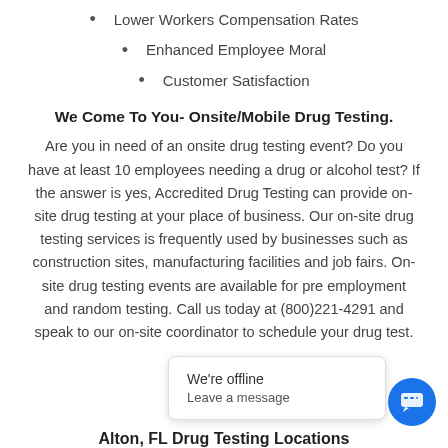Lower Workers Compensation Rates
Enhanced Employee Moral
Customer Satisfaction
We Come To You- Onsite/Mobile Drug Testing.
Are you in need of an onsite drug testing event? Do you have at least 10 employees needing a drug or alcohol test? If the answer is yes, Accredited Drug Testing can provide on-site drug testing at your place of business. Our on-site drug testing services is frequently used by businesses such as construction sites, manufacturing facilities and job fairs. On-site drug testing events are available for pre employment and random testing. Call us today at (800)221-4291 and speak to our on-site coordinator to schedule your drug test.
Alton, FL Drug Testing Locations